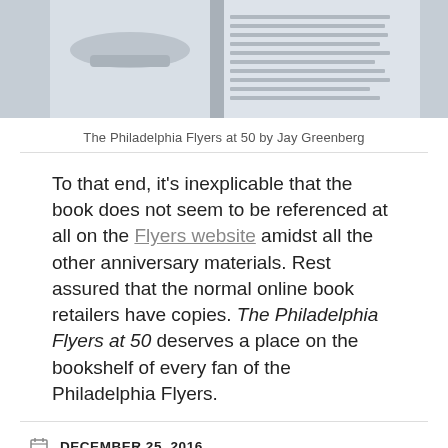[Figure (photo): Partial view of a book open to a page, showing a hockey skate image and text columns — The Philadelphia Flyers at 50 by Jay Greenberg]
The Philadelphia Flyers at 50 by Jay Greenberg
To that end, it's inexplicable that the book does not seem to be referenced at all on the Flyers website amidst all the other anniversary materials. Rest assured that the normal online book retailers have copies. The Philadelphia Flyers at 50 deserves a place on the bookshelf of every fan of the Philadelphia Flyers.
DECEMBER 25, 2016
ICE HOCKEY, PHILADELPHIA, PHILADELPHIA FLYERS
LEAVE A COMMENT